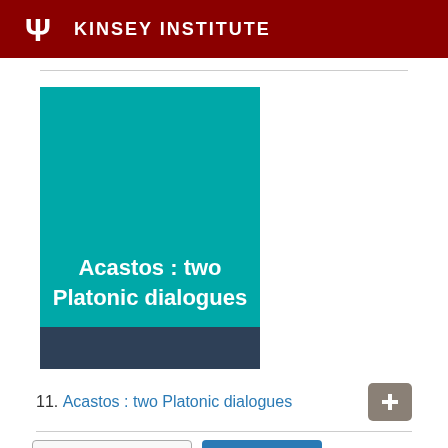KINSEY INSTITUTE
[Figure (illustration): Book cover with teal background showing title 'Acastos : two Platonic dialogues' in white bold text, with a dark navy band at the bottom]
11. Acastos : two Platonic dialogues